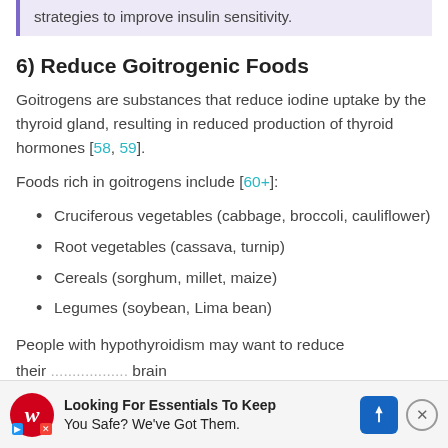strategies to improve insulin sensitivity.
6) Reduce Goitrogenic Foods
Goitrogens are substances that reduce iodine uptake by the thyroid gland, resulting in reduced production of thyroid hormones [58, 59].
Foods rich in goitrogens include [60+]:
Cruciferous vegetables (cabbage, broccoli, cauliflower)
Root vegetables (cassava, turnip)
Cereals (sorghum, millet, maize)
Legumes (soybean, Lima bean)
People with hypothyroidism may want to reduce their... brain fog...